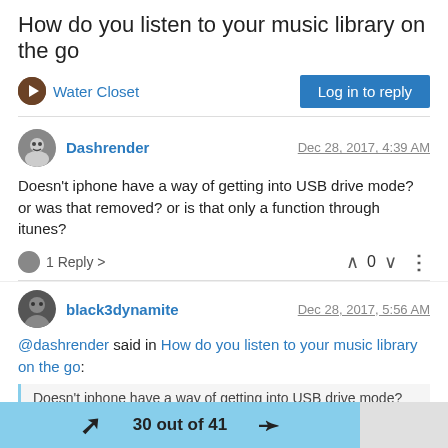How do you listen to your music library on the go
Water Closet
Log in to reply
Dashrender
Dec 28, 2017, 4:39 AM
Doesn't iphone have a way of getting into USB drive mode? or was that removed? or is that only a function through itunes?
1 Reply >
0
black3dynamite
Dec 28, 2017, 5:56 AM
@dashrender said in How do you listen to your music library on the go:
Doesn't iphone have a way of getting into USB drive mode? or was
30 out of 41